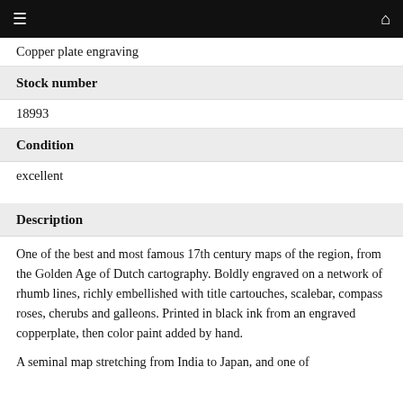≡  ⌂
Copper plate engraving
Stock number
18993
Condition
excellent
Description
One of the best and most famous 17th century maps of the region, from the Golden Age of Dutch cartography. Boldly engraved on a network of rhumb lines, richly embellished with title cartouches, scalebar, compass roses, cherubs and galleons. Printed in black ink from an engraved copperplate, then color paint added by hand.
A seminal map stretching from India to Japan, and one of